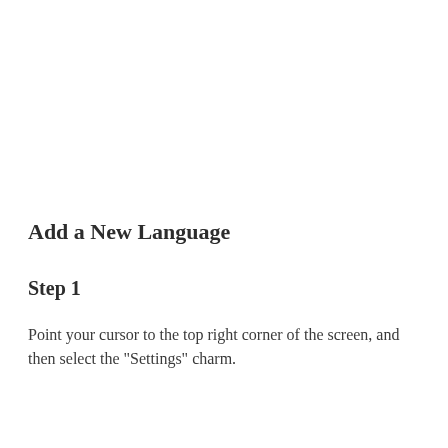Add a New Language
Step 1
Point your cursor to the top right corner of the screen, and then select the "Settings" charm.